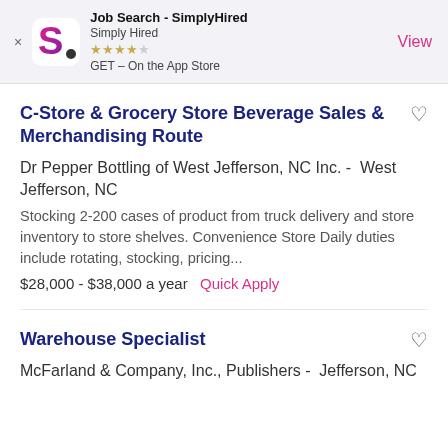[Figure (screenshot): SimplyHired app banner with logo, star rating, and View button]
C-Store & Grocery Store Beverage Sales & Merchandising Route
Dr Pepper Bottling of West Jefferson, NC Inc. -  West Jefferson, NC
Stocking 2-200 cases of product from truck delivery and store inventory to store shelves. Convenience Store Daily duties include rotating, stocking, pricing...
$28,000 - $38,000 a year  Quick Apply
Warehouse Specialist
McFarland & Company, Inc., Publishers -  Jefferson, NC